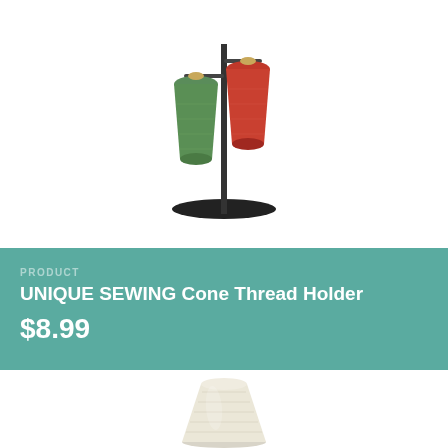[Figure (photo): Two cone thread spools (green and red) on a black thread holder stand, photographed against white background]
PRODUCT
UNIQUE SEWING Cone Thread Holder
$8.99
[Figure (photo): Single large cone of cream/off-white thread on a clear plastic base, photographed against white background]